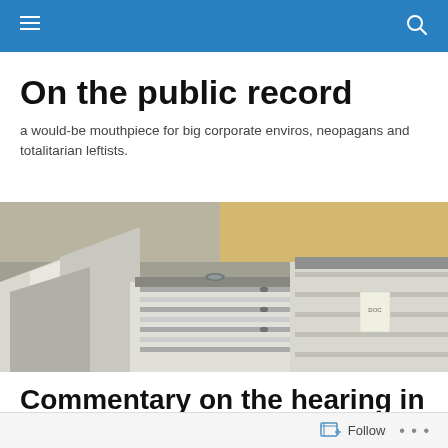On the public record
a would-be mouthpiece for big corporate enviros, neopagans and totalitarian leftists.
[Figure (photo): A large pile of binders and stacked documents/files photographed from a low angle, showing white and grey ring binders overflowing with papers.]
Commentary on the hearing in Fresno.
Follow ...